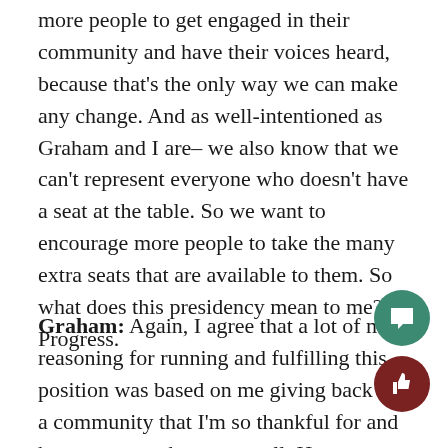more people to get engaged in their community and have their voices heard, because that's the only way we can make any change. And as well-intentioned as Graham and I are– we also know that we can't represent everyone who doesn't have a seat at the table. So we want to encourage more people to take the many extra seats that are available to them. So what does this presidency mean to me? Progress.
Graham: Again, I agree that a lot of my reasoning for running and fulfilling this position was based on me giving back to a community that I'm so thankful for and have gotten to know so well. However, more of it lies in the fact that nothing's perfect, and so a big part of our job is to continue working towards a more perfect BC. As someone who participates in many diverse activities and interacts with loads of different people, I think one of my strong as co-president is drawing from these different experiences